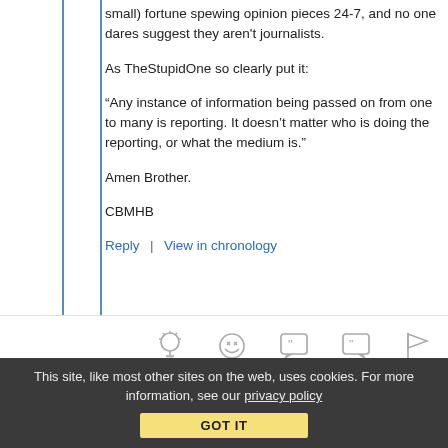small) fortune spewing opinion pieces 24-7, and no one dares suggest they aren't journalists.
As TheStupidOne so clearly put it:
“Any instance of information being passed on from one to many is reporting. It doesn’t matter who is doing the reporting, or what the medium is.”
Amen Brother.
CBMHB
Reply | View in chronology
[Figure (infographic): Row of 5 icon buttons: lightbulb, laughing emoji, speech bubble with quote marks, speech bubble with double quote, and flag icons]
This site, like most other sites on the web, uses cookies. For more information, see our privacy policy
GOT IT